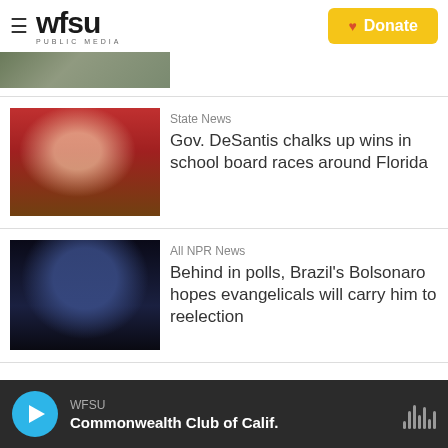WFSU PUBLIC MEDIA | Donate
[Figure (photo): Partial top strip of a photo, cropped]
[Figure (photo): Photo of Gov. DeSantis at a campaign event with supporters holding signs]
State News
Gov. DeSantis chalks up wins in school board races around Florida
[Figure (photo): Photo of Brazil's Bolsonaro with supporters at a rally]
All NPR News
Behind in polls, Brazil's Bolsonaro hopes evangelicals will carry him to reelection
WFSU | Commonwealth Club of Calif.